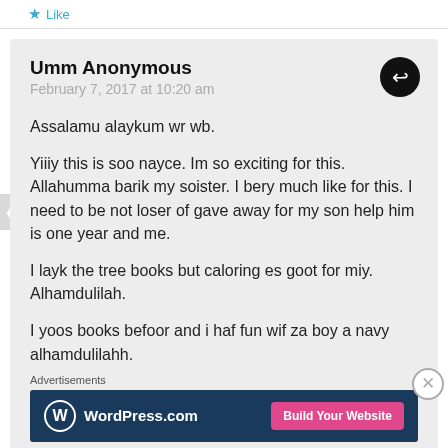Like
Umm Anonymous
February 7, 2017 at 10:20 am
Assalamu alaykum wr wb.
Yiiiy this is soo nayce. Im so exciting for this. Allahumma barik my soister. I bery much like for this. I need to be not loser of gave away for my son help him is one year and me.
I layk the tree books but caloring es goot for miy. Alhamdulilah.
I yoos books befoor and i haf fun wif za boy a navy alhamdulilahh.
Advertisements
[Figure (other): WordPress.com advertisement banner with Build Your Website button]